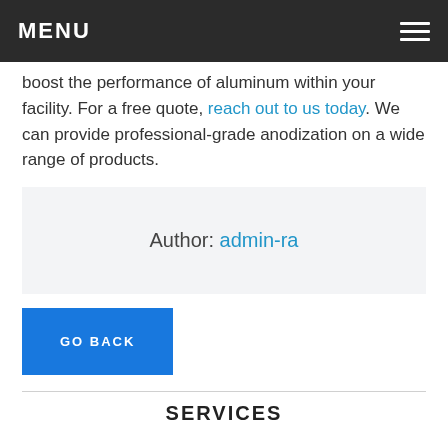MENU
boost the performance of aluminum within your facility. For a free quote, reach out to us today. We can provide professional-grade anodization on a wide range of products.
Author: admin-ra
GO BACK
SERVICES